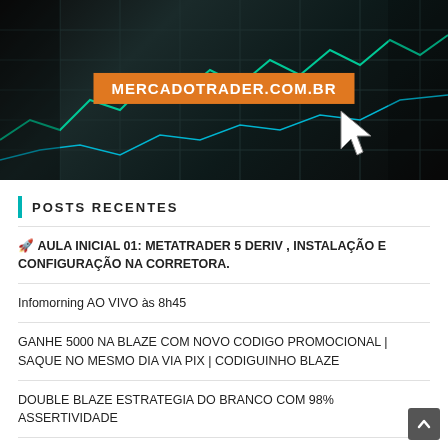[Figure (photo): Dark trading chart background banner with orange label reading MERCADOTRADER.COM.BR and a white cursor pointer icon]
POSTS RECENTES
🚀 AULA INICIAL 01: METATRADER 5 DERIV , INSTALAÇÃO E CONFIGURAÇÃO NA CORRETORA.
Infomorning AO VIVO às 8h45
GANHE 5000 NA BLAZE COM NOVO CODIGO PROMOCIONAL | SAQUE NO MESMO DIA VIA PIX | CODIGUINHO BLAZE
DOUBLE BLAZE ESTRATEGIA DO BRANCO COM 98% ASSERTIVIDADE
GANHE NO PIX SAQUE HOJE MESMO | NOVO CODIGO BLAZE | GANHOS + DE 500 REAIS | CODIGO PROMOCIONAL